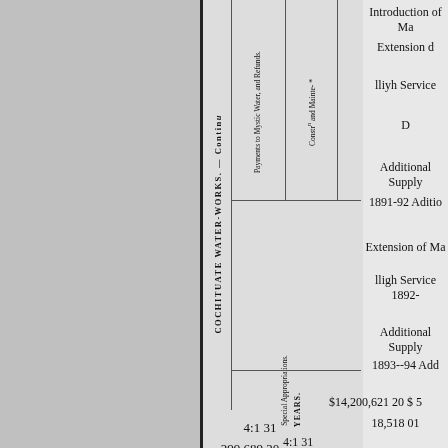COCHITUATE WATER-WORKS. — Continued.
Construction and Maintenance.
Payments to Mystic Water, and Refunds.
Special Appropriations.
Years.
Introduction of Ma
Extension d
lliyh Service
D
Additional Supply
1891-92 Aditio
Extension of Ma
lligh Service 1892-
Additional Supply
1893--94 Add
$14,200,621 20 $ 5
18,518 01
4:1 31
299,689 20
15,088 81
12,318 83